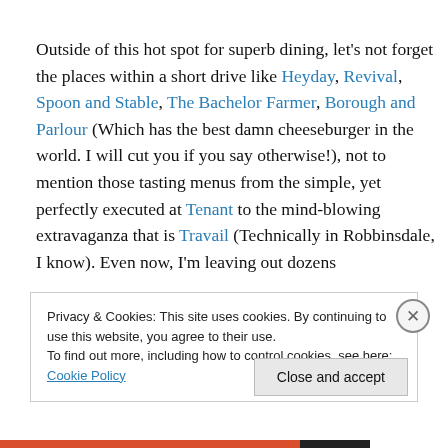Outside of this hot spot for superb dining, let's not forget the places within a short drive like Heyday, Revival, Spoon and Stable, The Bachelor Farmer, Borough and Parlour (Which has the best damn cheeseburger in the world. I will cut you if you say otherwise!), not to mention those tasting menus from the simple, yet perfectly executed at Tenant to the mind-blowing extravaganza that is Travail (Technically in Robbinsdale, I know). Even now, I'm leaving out dozens
Privacy & Cookies: This site uses cookies. By continuing to use this website, you agree to their use.
To find out more, including how to control cookies, see here: Cookie Policy
Close and accept